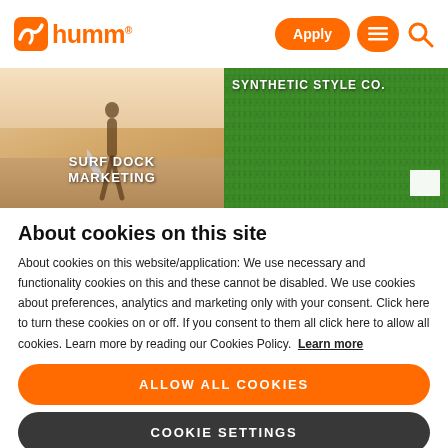humm - Apply, menu, search
[Figure (photo): Two banner images side by side: left shows a surfer on a beach with text 'SURF DOCK MARKETING', right shows a green synthetic grass background with text 'SYNTHETIC STYLE CO.']
About cookies on this site
About cookies on this website/application: We use necessary and functionality cookies on this and these cannot be disabled. We use cookies about preferences, analytics and marketing only with your consent. Click here to turn these cookies on or off. If you consent to them all click here to allow all cookies. Learn more by reading our Cookies Policy. Learn more
ALLOW ALL COOKIES
COOKIE SETTINGS